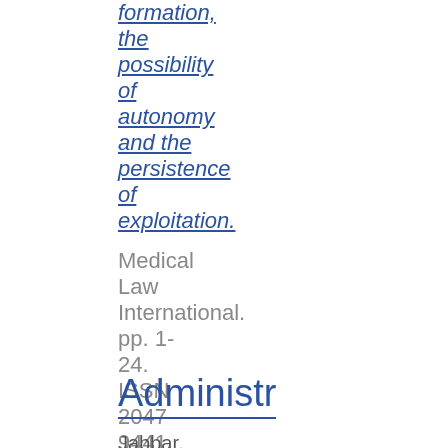preference formation, the possibility of autonomy and the persistence of exploitation.
Medical Law International. pp. 1-24. ISSN 2047-9441
Administr
Jabbar